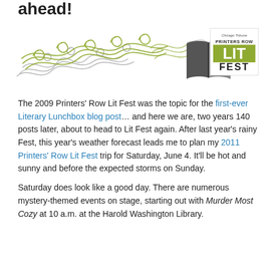ahead!
[Figure (illustration): Decorative swirling floral/wind design in olive green and gray, with an open book illustration and the Chicago Tribune Printers Row Lit Fest logo in the upper right.]
The 2009 Printers' Row Lit Fest was the topic for the first-ever Literary Lunchbox blog post… and here we are, two years 140 posts later, about to head to Lit Fest again.  After last year's rainy Fest, this year's weather forecast leads me to plan my 2011 Printers' Row Lit Fest trip for Saturday, June 4.  It'll be hot and sunny and before the expected storms on Sunday.
Saturday does look like a good day.  There are numerous mystery-themed events on stage, starting out with Murder Most Cozy at 10 a.m. at the Harold Washington Library.